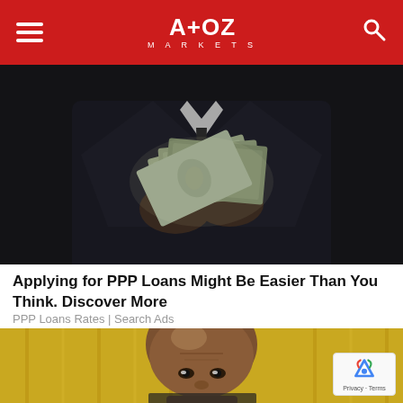A+OZ MARKETS
[Figure (photo): Person in dark suit holding a fan of US dollar bills, close-up shot against dark background]
Applying for PPP Loans Might Be Easier Than You Think. Discover More
PPP Loans Rates | Search Ads
[Figure (photo): Close-up of bald man looking at camera, gold/yellow curtain background, with reCAPTCHA badge overlay showing Privacy and Terms]